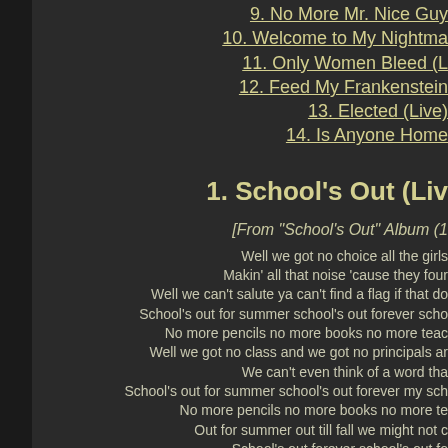9. No More Mr. Nice Guy
10. Welcome to My Nightmare
11. Only Women Bleed (L
12. Feed My Frankenstein
13. Elected (Live)
14. Is Anyone Home
1. School's Out (Liv
[From "School's Out" Album (1
Well we got no choice all the girls
Makin' all that noise 'cause they four
Well we can't salute ya can't find a flag if that do
School's out for summer school's out forever scho
No more pencils no more books no more teac
Well we got no class and we got no principals ar
We can't even think of a word tha
School's out for summer school's out forever my sch
No more pencils no more books no more te
Out for summer out till fall we might not c
School's out forever school's out fo
School's out with fever school's out
2. School's Wi...